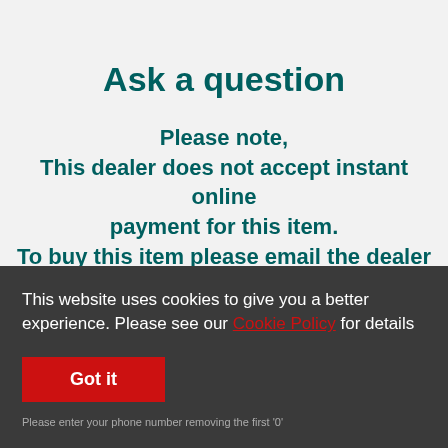Ask a question
Please note,
This dealer does not accept instant online payment for this item.
To buy this item please email the dealer using the enquiry form below.
This website uses cookies to give you a better experience. Please see our Cookie Policy for details
Got it
Name*
Email*
Please enter your phone number removing the first '0'